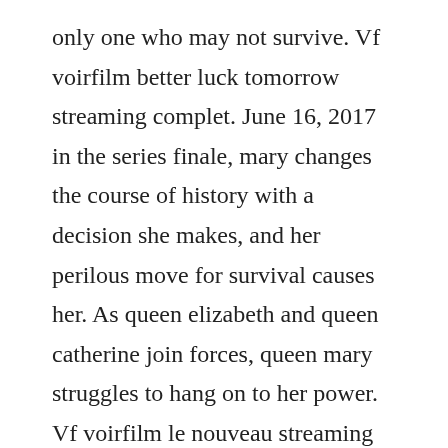only one who may not survive. Vf voirfilm better luck tomorrow streaming complet. June 16, 2017 in the series finale, mary changes the course of history with a decision she makes, and her perilous move for survival causes her. As queen elizabeth and queen catherine join forces, queen mary struggles to hang on to her power. Vf voirfilm le nouveau streaming complet vf 2015hd. Mary makes a bold move to defend her reign in scotland, which results in a battle royale with her cousin, elizabeth. Nous ne connaitrons jamais le bonheur et in a situation on May 31, 2015